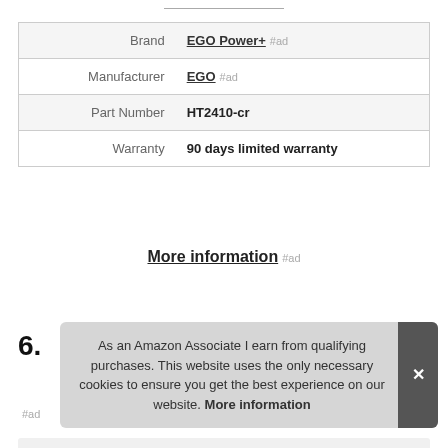|  |  |
| --- | --- |
| Brand | EGO Power+ #ad |
| Manufacturer | EGO #ad |
| Part Number | HT2410-cr |
| Warranty | 90 days limited warranty |
More information #ad
6.
As an Amazon Associate I earn from qualifying purchases. This website uses the only necessary cookies to ensure you get the best experience on our website. More information